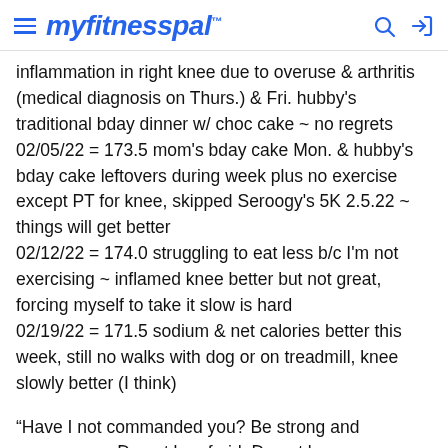myfitnesspal
inflammation in right knee due to overuse & arthritis (medical diagnosis on Thurs.) & Fri. hubby's traditional bday dinner w/ choc cake ~ no regrets
02/05/22 = 173.5 mom's bday cake Mon. & hubby's bday cake leftovers during week plus no exercise except PT for knee, skipped Seroogy's 5K 2.5.22 ~ things will get better
02/12/22 = 174.0 struggling to eat less b/c I'm not exercising ~ inflamed knee better but not great, forcing myself to take it slow is hard
02/19/22 = 171.5 sodium & net calories better this week, still no walks with dog or on treadmill, knee slowly better (I think)
“Have I not commanded you? Be strong and courageous. Do not be afraid. Do not be